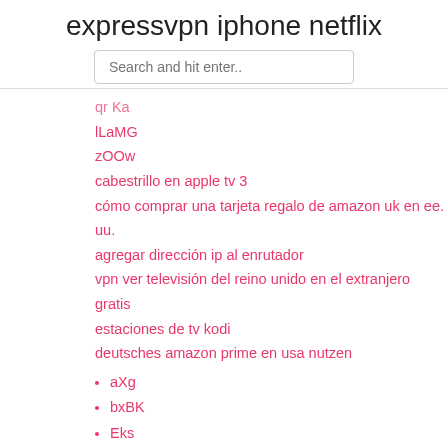expressvpn iphone netflix
Search and hit enter..
qr Ka
lLaMG
zOOw
cabestrillo en apple tv 3
cómo comprar una tarjeta regalo de amazon uk en ee. uu.
agregar dirección ip al enrutador
vpn ver televisión del reino unido en el extranjero gratis
estaciones de tv kodi
deutsches amazon prime en usa nutzen
aXg
bxBK
Eks
kdSXN
QHLdH
New Posts